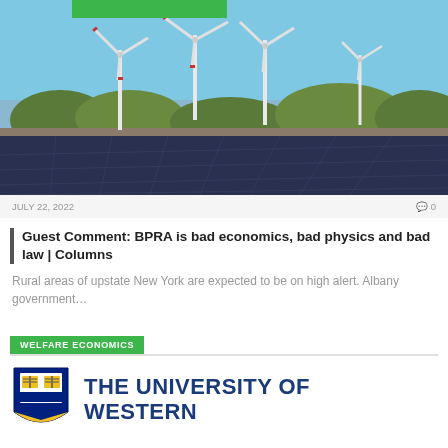[Figure (photo): Wind turbines and solar panels against blue sky with trees]
JULY 22, 2022   0
Guest Comment: BPRA is bad economics, bad physics and bad law | Columns
Rural areas of upstate New York are expected to be on high alert. Albany government…
WELFARE ECONOMICS
[Figure (logo): The University of Western Ontario logo with shield and text]